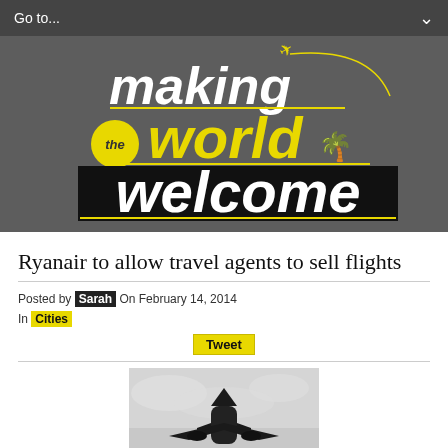Go to...
[Figure (logo): Making the World Welcome blog logo — white italic text 'making' and 'welcome', yellow italic text 'world', yellow circle with 'the', palm trees and airplane graphic on dark gray background]
Ryanair to allow travel agents to sell flights
Posted by Sarah On February 14, 2014
In Cities
Tweet
[Figure (photo): Black and white silhouette of an airplane viewed from below against a cloudy sky]